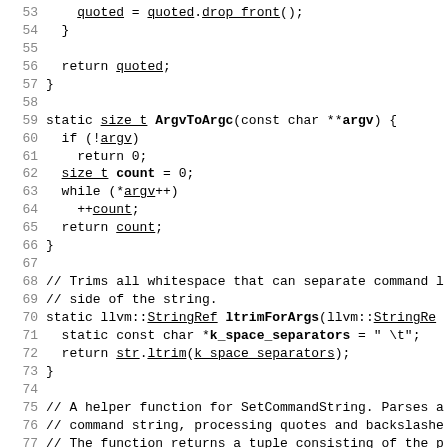Source code listing, lines 53–82, showing C++ functions ArgvToArgc and ltrimForArgs and ParseSingleArgument